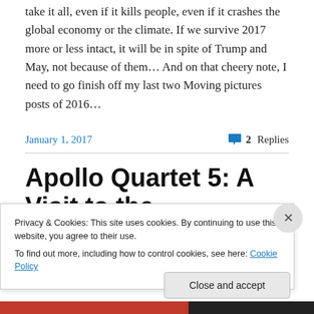take it all, even if it kills people, even if it crashes the global economy or the climate. If we survive 2017 more or less intact, it will be in spite of Trump and May, not because of them… And on that cheery note, I need to go finish off my last two Moving pictures posts of 2016…
January 1, 2017
2 Replies
Apollo Quartet 5: A Visit to the
Privacy & Cookies: This site uses cookies. By continuing to use this website, you agree to their use.
To find out more, including how to control cookies, see here: Cookie Policy
Close and accept